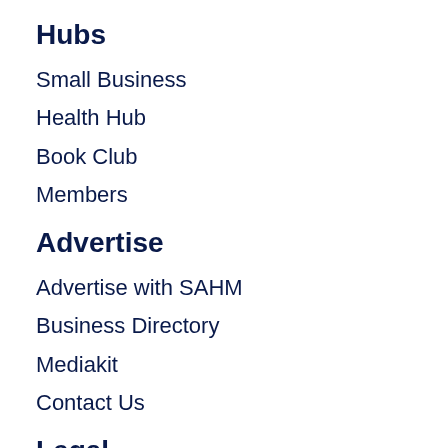Hubs
Small Business
Health Hub
Book Club
Members
Advertise
Advertise with SAHM
Business Directory
Mediakit
Contact Us
Legal
Privacy Policy